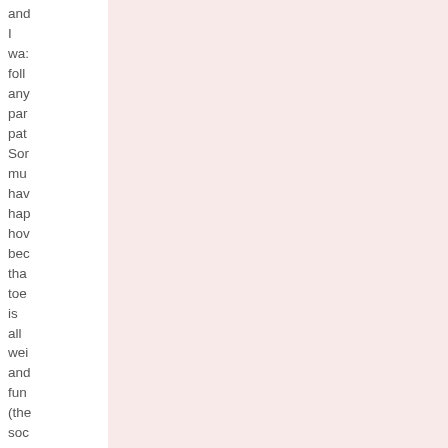and I was follo any par pat So mu hav hap hov bec tha toe is all wei and fun (the soc on th